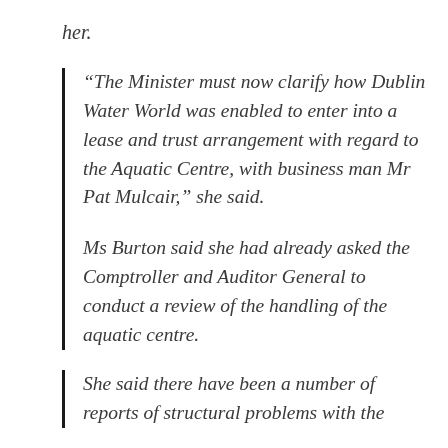her.
“The Minister must now clarify how Dublin Water World was enabled to enter into a lease and trust arrangement with regard to the Aquatic Centre, with business man Mr Pat Mulcair,” she said.
Ms Burton said she had already asked the Comptroller and Auditor General to conduct a review of the handling of the aquatic centre.
She said there have been a number of reports of structural problems with the